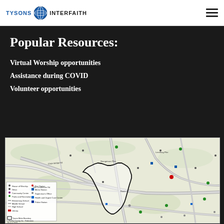TYSONS INTERFAITH
Popular Resources:
Virtual Worship opportunities
Assistance during COVID
Volunteer opportunities
[Figure (map): A geographic map of the Tysons area in Fairfax County, Virginia, showing the Tysons Metro Boundary outlined in black, with various landmarks including houses of worship, community centers, schools, libraries, fire stations, metro stations, supervisors offices, health care centers, and police stations marked with different colored icons. A legend is visible in the lower left corner. Fairfax County, VA Federation, August 2020.]